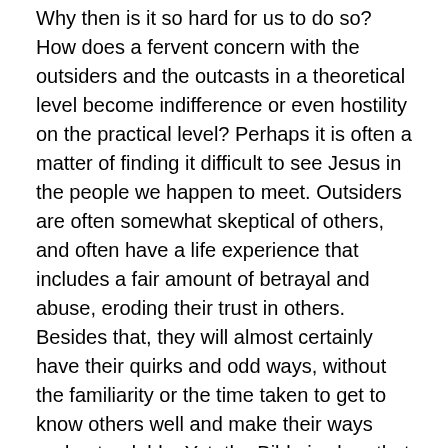Why then is it so hard for us to do so? How does a fervent concern with the outsiders and the outcasts in a theoretical level become indifference or even hostility on the practical level? Perhaps it is often a matter of finding it difficult to see Jesus in the people we happen to meet. Outsiders are often somewhat skeptical of others, and often have a life experience that includes a fair amount of betrayal and abuse, eroding their trust in others. Besides that, they will almost certainly have their quirks and odd ways, without the familiarity or the time taken to get to know others well and make their ways understandable. Yet, the Bible is clear that the people of God are like Him, a little different, whether we happen to be in the Pacific Northwest, or anywhere else. I suppose that by not fitting in we belong among God’s people after all, as strange as that may seem.